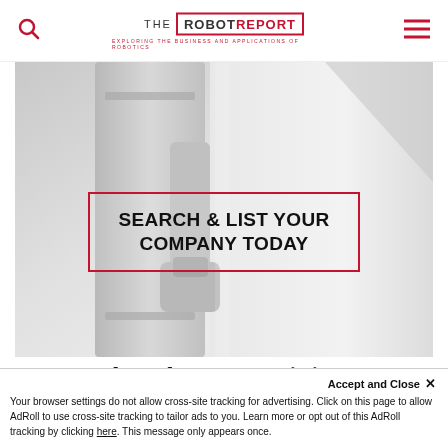THE ROBOT REPORT - EXPLORING THE BUSINESS AND APPLICATIONS OF ROBOTICS
[Figure (photo): White robotic arm or industrial robot component photographed against a light grey background, showing mechanical joints and panels]
SEARCH & LIST YOUR COMPANY TODAY
The Robot Report Listings
Accept and Close ✕
Your browser settings do not allow cross-site tracking for advertising. Click on this page to allow AdRoll to use cross-site tracking to tailor ads to you. Learn more or opt out of this AdRoll tracking by clicking here. This message only appears once.